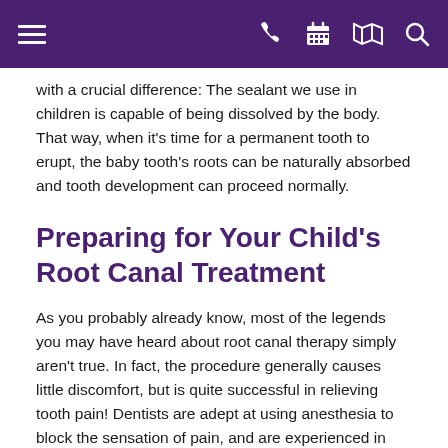Navigation bar with menu, phone, calendar, map, search icons
with a crucial difference: The sealant we use in children is capable of being dissolved by the body. That way, when it's time for a permanent tooth to erupt, the baby tooth's roots can be naturally absorbed and tooth development can proceed normally.
Preparing for Your Child's Root Canal Treatment
As you probably already know, most of the legends you may have heard about root canal therapy simply aren't true. In fact, the procedure generally causes little discomfort, but is quite successful in relieving tooth pain! Dentists are adept at using anesthesia to block the sensation of pain, and are experienced in calming the fears of young ones. While it's understandable that you may be nervous, it will help if you don't let your child pick up on your own anxiety. A calming voice and a gentle touch can do much to relieve stress.
After a thorough examination, the best options for your child's